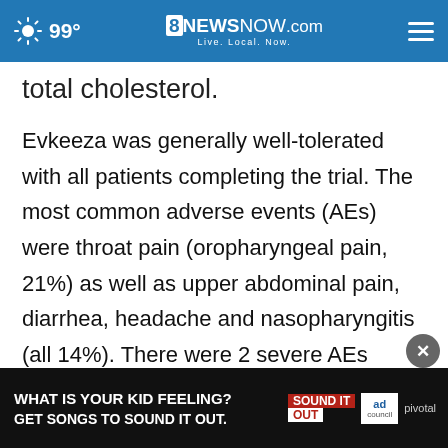99° 8 NEWS NOW.com Live. Local. Now.
total cholesterol.
Evkeeza was generally well-tolerated with all patients completing the trial. The most common adverse events (AEs) were throat pain (oropharyngeal pain, 21%) as well as upper abdominal pain, diarrhea, headache and nasopharyngitis (all 14%). There were 2 severe AEs (aortic stenosis and tonsilitis), both of which were considered unrelated to treatment
Evkee...
[Figure (screenshot): Advertisement banner: 'WHAT IS YOUR KID FEELING? GET SONGS TO SOUND IT OUT.' with Sound It Out and Ad Council / Pivotal logos]